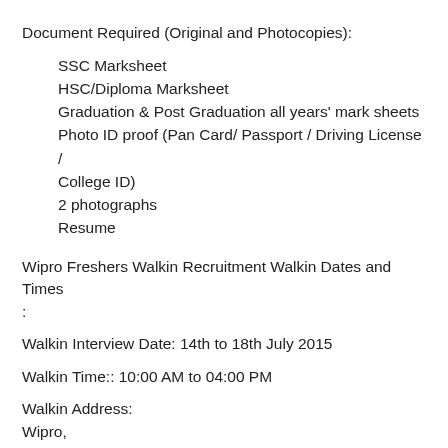Document Required (Original and Photocopies):
SSC Marksheet
HSC/Diploma Marksheet
Graduation & Post Graduation all years' mark sheets
Photo ID proof (Pan Card/ Passport / Driving License / College ID)
2 photographs
Resume
Wipro Freshers Walkin Recruitment Walkin Dates and Times :
Walkin Interview Date: 14th to 18th July 2015
Walkin Time:: 10:00 AM to 04:00 PM
Walkin Address:
Wipro,
Gate No-2, Plot No. 8,
Block DM, Sector V,